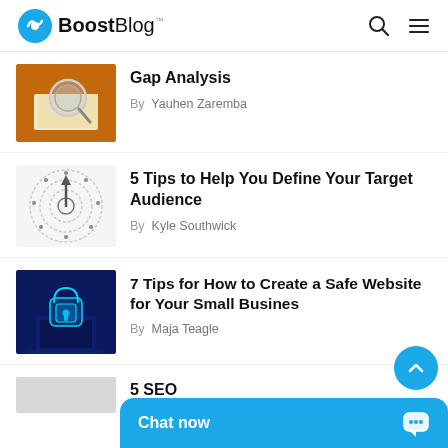BoostBlog™
Gap Analysis
By  Yauhen Zaremba
5 Tips to Help You Define Your Target Audience
By  Kyle Southwick
7 Tips for How to Create a Safe Website for Your Small Business
By  Maja Teagle
5 SEO
Chat now